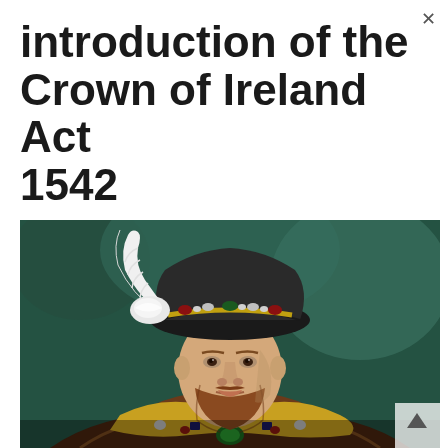introduction of the Crown of Ireland Act 1542
[Figure (photo): Portrait painting of King Henry VIII wearing a black jewelled hat with white feather, fur-trimmed brown robes and ornate jewelled collar/chain, against a dark teal background. The figure shows a middle-aged man with a reddish-brown beard, depicted from the waist up.]